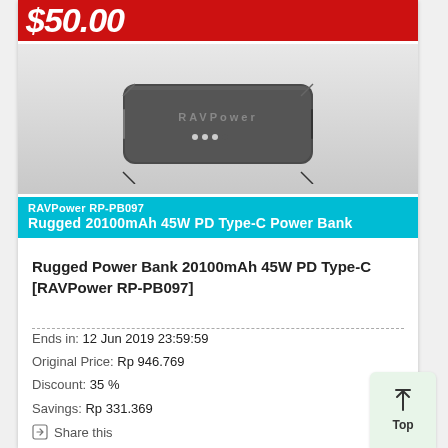[Figure (photo): Product listing image showing a RAVPower RP-PB097 Rugged 20100mAh 45W PD Type-C Power Bank on a red price banner showing $50.00, with the power bank device centered on a grey background, and a teal label bar at the bottom reading 'RAVPower RP-PB097 Rugged 20100mAh 45W PD Type-C Power Bank']
Rugged Power Bank 20100mAh 45W PD Type-C [RAVPower RP-PB097]
Ends in: 12 Jun 2019 23:59:59
Original Price: Rp 946.769
Discount: 35 %
Savings: Rp 331.369
Share this